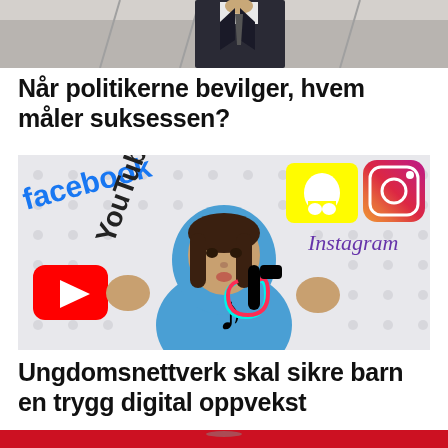[Figure (photo): Top portion of a photo showing a person in a dark suit jacket, partial view from shoulders up, indoor setting]
Når politikerne bevilger, hvem måler suksessen?
[Figure (photo): A young girl in a blue hoodie surrounded by social media logos: Facebook, YouTube, Snapchat, Instagram, TikTok]
Ungdomsnettverk skal sikre barn en trygg digital oppvekst
[Figure (photo): Bottom partial photo showing a red background with what appears to be a laptop or tablet device]